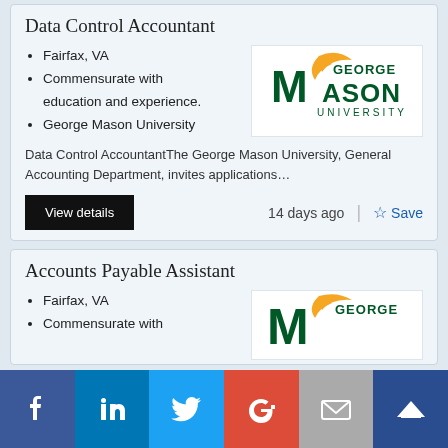Data Control Accountant
Fairfax, VA
Commensurate with education and experience.
George Mason University
[Figure (logo): George Mason University logo]
Data Control AccountantThe George Mason University, General Accounting Department, invites applications…
View details   14 days ago  |  ☆ Save
Accounts Payable Assistant
Fairfax, VA
Commensurate with
[Figure (logo): George Mason University logo (partial)]